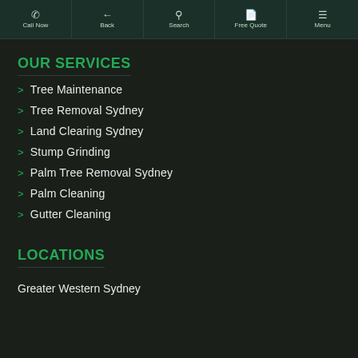Call Now | Back | Search | Free Quote | Menu
OUR SERVICES
Tree Maintenance
Tree Removal Sydney
Land Clearing Sydney
Stump Grinding
Palm Tree Removal Sydney
Palm Cleaning
Gutter Cleaning
LOCATIONS
Greater Western Sydney